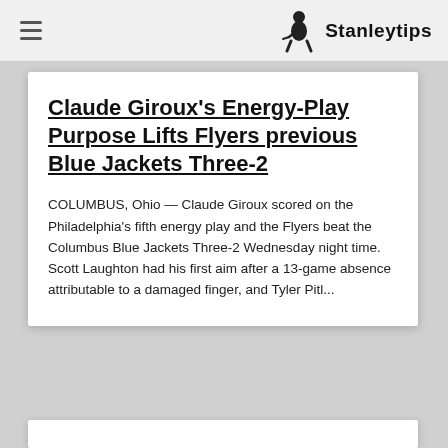Stanleytips
Claude Giroux’s Energy-Play Purpose Lifts Flyers previous Blue Jackets Three-2
COLUMBUS, Ohio — Claude Giroux scored on the Philadelphia’s fifth energy play and the Flyers beat the Columbus Blue Jackets Three-2 Wednesday night time. Scott Laughton had his first aim after a 13-game absence attributable to a damaged finger, and Tyler Pitl...